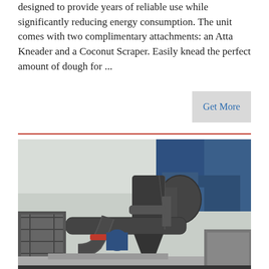designed to provide years of reliable use while significantly reducing energy consumption. The unit comes with two complimentary attachments: an Atta Kneader and a Coconut Scraper. Easily knead the perfect amount of dough for ...
Get More
[Figure (photo): Industrial machinery photograph showing large dark-colored industrial pipes, ducts, and cyclone/dust collector equipment on a rooftop or industrial facility, with blue structural elements visible in the background.]